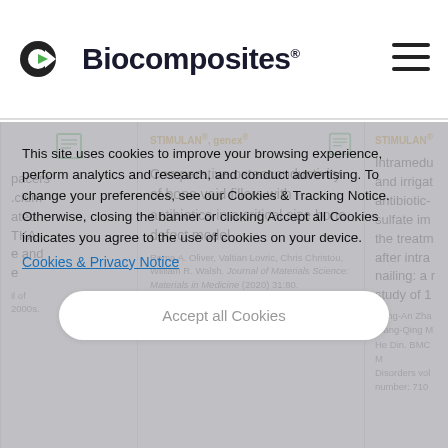Biocomposites
spacers calcium ated TKA: e and e
STIMULAN®, genex®
Comparative osteoconductivity of bone void fillers with antibiotics in a critical size bone defect model
Rema A. Oliver, Valtian Lovric, Chris Christou, William R. Walsh. Journal of Materials Science: Materials in Medicine (2020) 31:80.
STIMULAN®
Intramedullary and irrigation of antibiotic-loaded calcium sulfate implants in the treatment after intramedullary nailing: a retrospective study of 1
Hong-An Zhao, Xiang-Qing Meng, He Din. BMC Musculoskeletal Disorders volume number: 710
This site uses cookies to improve your browsing experience, perform analytics and research, and conduct advertising. To change your preferences, see our Cookies & Tracking Notice. Otherwise, closing the banner or clicking Accept all Cookies indicates you agree to the use of cookies on your device.
Cookies & Privacy Notice
Accept all Cookies